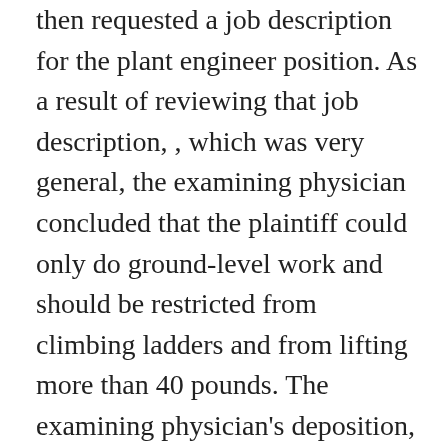then requested a job description for the plant engineer position. As a result of reviewing that job description, , which was very general, the examining physician concluded that the plaintiff could only do ground-level work and should be restricted from climbing ladders and from lifting more than 40 pounds. The examining physician's deposition, which was confirmed by the notes of the school district's human resources personnel, said that the plaintiff was healthy for now but may deteriorate over time. Further, the evidence revealed that the disqualification (i.e. the taking back of a conditional job offer), was made by the examining physician and the HR department completely devoid of any information as to what the plaintiff was currently doing in his job and without exploring whether any reasonable accommodations would work. Plaintiff then